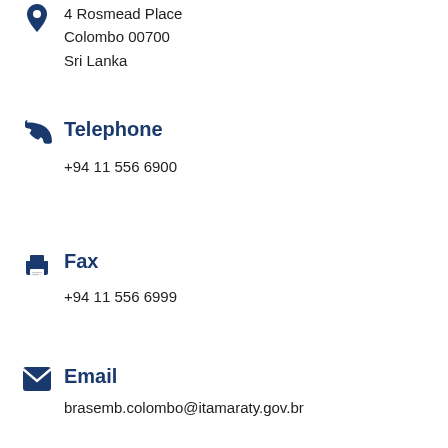4 Rosmead Place
Colombo 00700
Sri Lanka
Telephone
+94 11 556 6900
Fax
+94 11 556 6999
Email
brasemb.colombo@itamaraty.gov.br